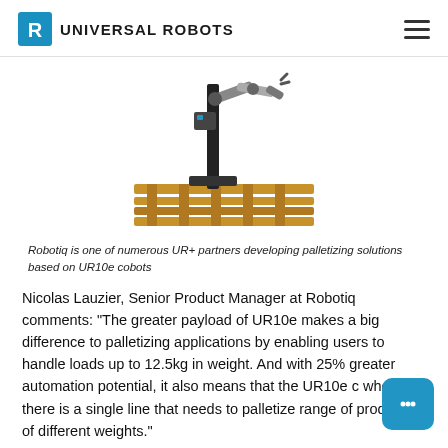UNIVERSAL ROBOTS
[Figure (photo): A collaborative robot arm (cobot) mounted on a vertical stand above a wooden pallet, depicting a palletizing solution based on UR10e cobots.]
Robotiq is one of numerous UR+ partners developing palletizing solutions based on UR10e cobots
Nicolas Lauzier, Senior Product Manager at Robotiq comments: “The greater payload of UR10e makes a big difference to palletizing applications by enabling users to handle loads up to 12.5kg in weight. And with 25% greater automation potential, it also means that the UR10e c whenever there is a single line that needs to palletize range of products of different weights.”